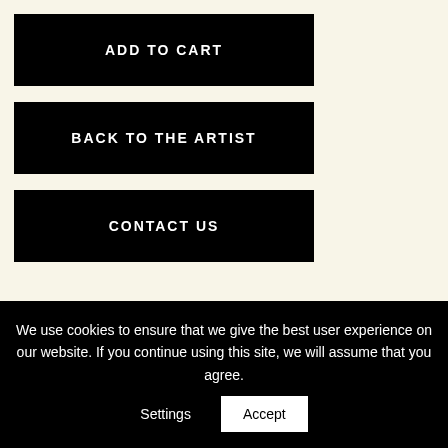ADD TO CART
BACK TO THE ARTIST
CONTACT US
SKU  00049-7
We use cookies to ensure that we give the best user experience on our website. If you continue using this site, we will assume that you agree.
Settings
Accept